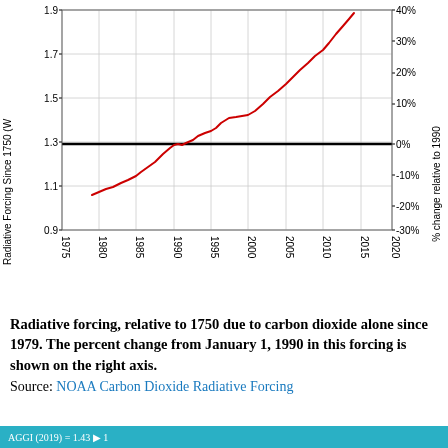[Figure (line-chart): Line chart showing radiative forcing relative to 1750 due to CO2 alone since 1979, with percent change from January 1, 1990 on right axis]
Radiative forcing, relative to 1750 due to carbon dioxide alone since 1979. The percent change from January 1, 1990 in this forcing is shown on the right axis. Source: NOAA Carbon Dioxide Radiative Forcing